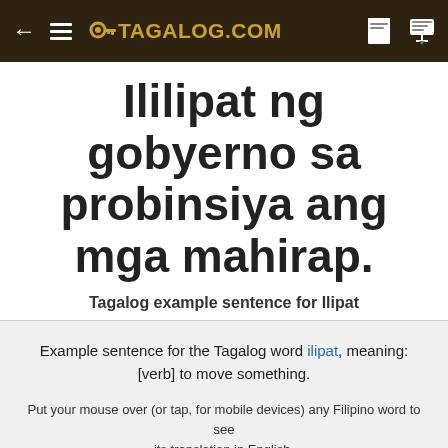← ≡ 🔑 TAGALOG.COM
Ililipat ng gobyerno sa probinsiya ang mga mahirap.
Tagalog example sentence for Ilipat
Example sentence for the Tagalog word ilipat, meaning: [verb] to move something.
Put your mouse over (or tap, for mobile devices) any Filipino word to see its translation in English. Stressed vowels in the example sentence are underlined.